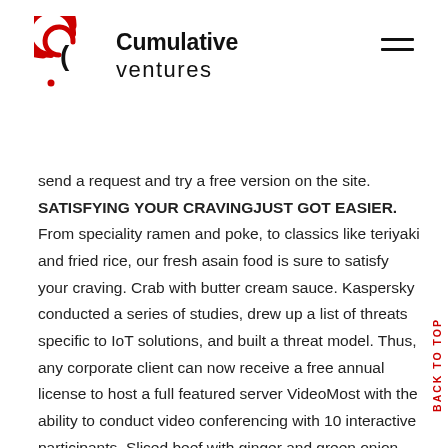Cumulative ventures
send a request and try a free version on the site. SATISFYING YOUR CRAVINGJUST GOT EASIER. From speciality ramen and poke, to classics like teriyaki and fried rice, our fresh asain food is sure to satisfy your craving. Crab with butter cream sauce. Kaspersky conducted a series of studies, drew up a list of threats specific to IoT solutions, and built a threat model. Thus, any corporate client can now receive a free annual license to host a full featured server VideoMost with the ability to conduct video conferencing with 10 interactive participants. Sliced beef with ginger and green onion. The population estimates are from the U.